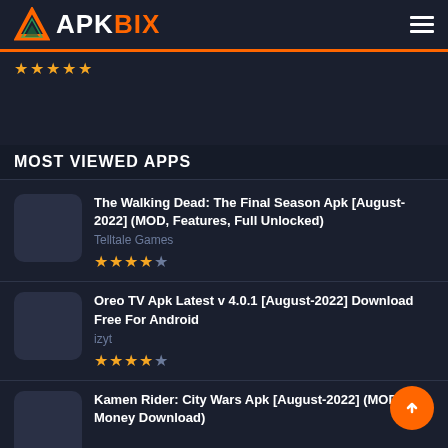APKBIX
The Walking Dead: The Final Season Apk [August-2022] (MOD, Features, Full Unlocked) — Telltale Games — Rating: 4.5 stars
Oreo TV Apk Latest v 4.0.1 [August-2022] Download Free For Android — izyt — Rating: 4.5 stars
Kamen Rider: City Wars Apk [August-2022] (MOD, Money Download)